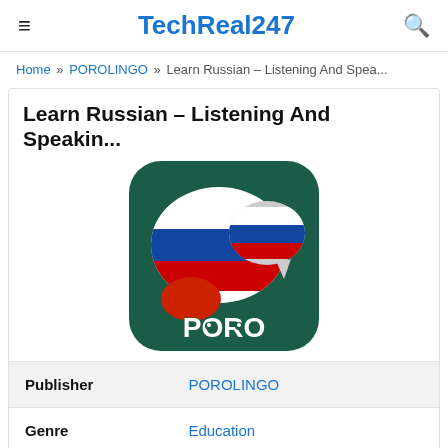TechReal247
Home » POROLINGO » Learn Russian – Listening And Spea...
Learn Russian – Listening And Speakin...
[Figure (logo): PORO app icon with Russian flag speech bubble on dark green rounded square background]
| Publisher | POROLINGO |
| Genre | Education |